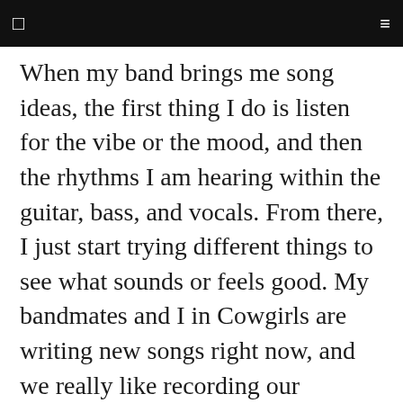When my band brings me song ideas, the first thing I do is listen for the vibe or the mood, and then the rhythms I am hearing within the guitar, bass, and vocals. From there, I just start trying different things to see what sounds or feels good. My bandmates and I in Cowgirls are writing new songs right now, and we really like recording our rehearsals and listening back to see what we like or what sounds good. I try to just let it flow and not think too much about it at the beginning.
HOW IMPORTANT IS FAILURE IN MAKING MUSIC/PERFORMING?